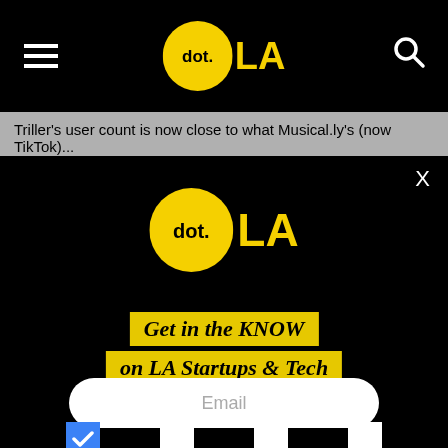[Figure (logo): dot.LA logo in navigation bar: yellow circle with 'dot.' text in black and 'LA' text in yellow beside it, on black background with hamburger menu icon on left and search icon on right]
Triller's user count is now close to what Musical.ly's (now TikTok)...
[Figure (logo): dot.LA logo modal overlay: large yellow circle with 'dot.' in black and 'LA' in yellow, on black background with X close button]
Get in the KNOW on LA Startups & Tech
Email